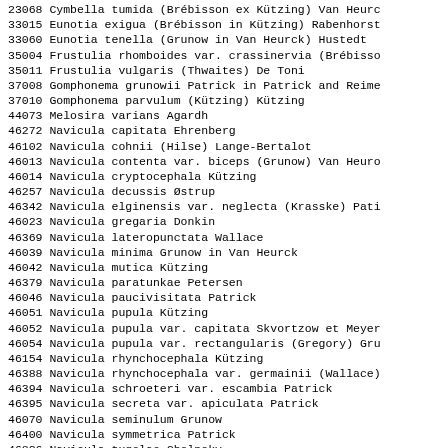23068 Cymbella tumida (Brébisson ex Kützing) Van Heurck
33015 Eunotia exigua (Brébisson in Kützing) Rabenhorst
33060 Eunotia tenella (Grunow in Van Heurck) Hustedt
35004 Frustulia rhomboides var. crassinervia (Brébisson
35011 Frustulia vulgaris (Thwaites) De Toni
37008 Gomphonema grunowii Patrick in Patrick and Reimer
37010 Gomphonema parvulum (Kützing) Kützing
44073 Melosira varians Agardh
46272 Navicula capitata Ehrenberg
46102 Navicula cohnii (Hilse) Lange-Bertalot
46013 Navicula contenta var. biceps (Grunow) Van Heurck
46014 Navicula cryptocephala Kützing
46257 Navicula decussis Østrup
46342 Navicula elginensis var. neglecta (Krasske) Patrick
46023 Navicula gregaria Donkin
46369 Navicula lateropunctata Wallace
46039 Navicula minima Grunow in Van Heurck
46042 Navicula mutica Kützing
46379 Navicula paratunkae Petersen
46046 Navicula paucivisitata Patrick
46051 Navicula pupula Kützing
46052 Navicula pupula var. capitata Skvortzow et Meyer
46054 Navicula pupula var. rectangularis (Gregory) Grunow
46154 Navicula rhynchocephala Kützing
46388 Navicula rhynchocephala var. germainii (Wallace)
46394 Navicula schroeteri var. escambia Patrick
46395 Navicula secreta var. apiculata Patrick
46070 Navicula seminulum Grunow
46400 Navicula symmetrica Patrick
46836 Navicula tugelae Cholnoky
47007 Neidium...